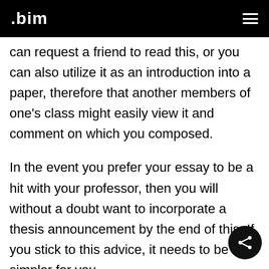.bim
can request a friend to read this, or you can also utilize it as an introduction into a paper, therefore that another members of one’s class might easily view it and comment on which you composed.
In the event you prefer your essay to be a hit with your professor, then you will without a doubt want to incorporate a thesis announcement by the end of this. If you stick to this advice, it needs to be simpler for you